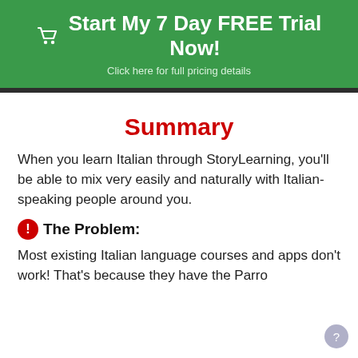[Figure (other): Green call-to-action banner with shopping cart icon, bold white text 'Start My 7 Day FREE Trial Now!' and subtitle 'Click here for full pricing details']
Summary
When you learn Italian through StoryLearning, you'll be able to mix very easily and naturally with Italian-speaking people around you.
The Problem:
Most existing Italian language courses and apps don't work! That's because they have the Parro